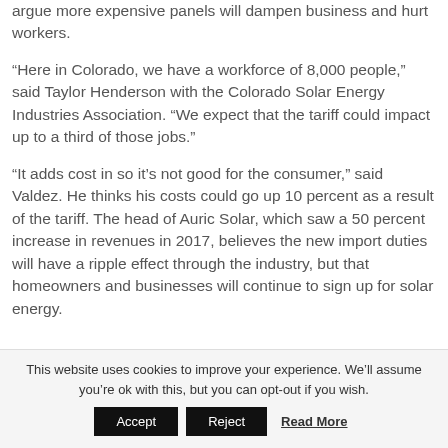argue more expensive panels will dampen business and hurt workers.
“Here in Colorado, we have a workforce of 8,000 people,” said Taylor Henderson with the Colorado Solar Energy Industries Association. “We expect that the tariff could impact up to a third of those jobs.”
“It adds cost in so it’s not good for the consumer,” said Valdez. He thinks his costs could go up 10 percent as a result of the tariff. The head of Auric Solar, which saw a 50 percent increase in revenues in 2017, believes the new import duties will have a ripple effect through the industry, but that homeowners and businesses will continue to sign up for solar energy.
This website uses cookies to improve your experience. We’ll assume you’re ok with this, but you can opt-out if you wish.
Accept  Reject  Read More